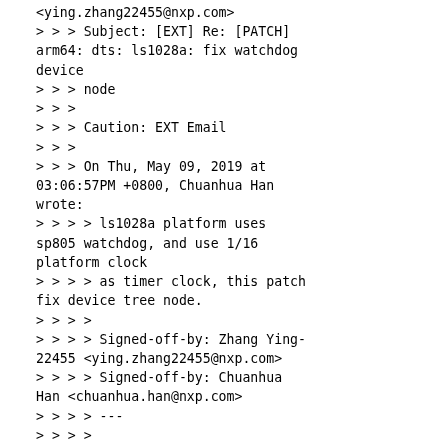<ying.zhang22455@nxp.com>
> > > Subject: [EXT] Re: [PATCH] arm64: dts: ls1028a: fix watchdog device
> > > node
> > >
> > > Caution: EXT Email
> > >
> > > On Thu, May 09, 2019 at 03:06:57PM +0800, Chuanhua Han wrote:
> > > > ls1028a platform uses sp805 watchdog, and use 1/16 platform clock
> > > > as timer clock, this patch fix device tree node.
> > > >
> > > > Signed-off-by: Zhang Ying-22455 <ying.zhang22455@nxp.com>
> > > > Signed-off-by: Chuanhua Han <chuanhua.han@nxp.com>
> > > > ---
> > > >
.../arm64/boot/dts/freescale/fsl-ls1028a.dtsi | 19
> > > > +++++++++++--------
> > > >  1 file changed, 12 insertions(+), 7 deletions(-)
> > > >
> > > > diff --git